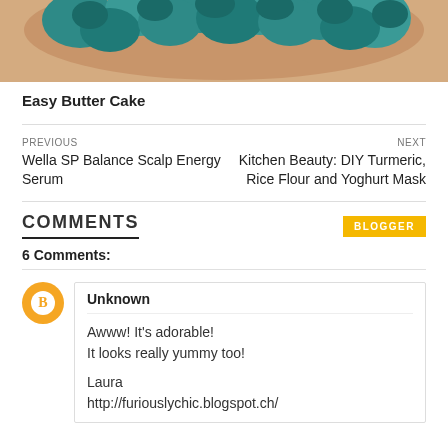[Figure (photo): Top portion of a cake with teal/turquoise frosting rosettes on a beige/tan base]
Easy Butter Cake
PREVIOUS
Wella SP Balance Scalp Energy Serum
NEXT
Kitchen Beauty: DIY Turmeric, Rice Flour and Yoghurt Mask
COMMENTS
6 Comments:
Unknown
Awww! It's adorable!
It looks really yummy too!

Laura
http://furiouslychic.blogspot.ch/